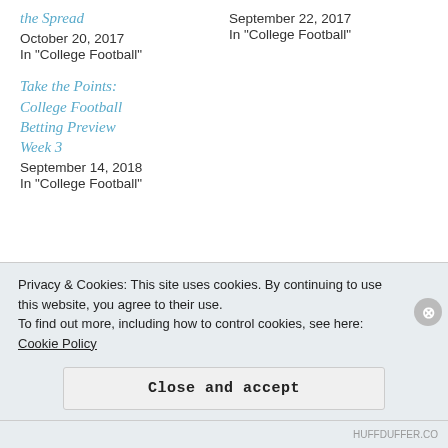the Spread
October 20, 2017
In "College Football"
September 22, 2017
In "College Football"
Take the Points: College Football Betting Preview Week 3
September 14, 2018
In "College Football"
Posted in College Football, Gambling
Privacy & Cookies: This site uses cookies. By continuing to use this website, you agree to their use.
To find out more, including how to control cookies, see here: Cookie Policy
Close and accept